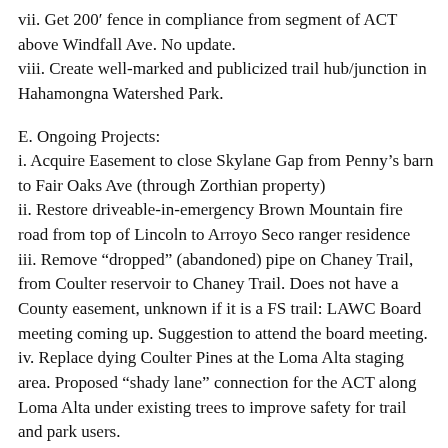vii. Get 200' fence in compliance from segment of ACT above Windfall Ave. No update.
viii. Create well-marked and publicized trail hub/junction in Hahamongna Watershed Park.
E. Ongoing Projects:
i. Acquire Easement to close Skylane Gap from Penny's barn to Fair Oaks Ave (through Zorthian property)
ii. Restore driveable-in-emergency Brown Mountain fire road from top of Lincoln to Arroyo Seco ranger residence
iii. Remove “dropped” (abandoned) pipe on Chaney Trail, from Coulter reservoir to Chaney Trail. Does not have a County easement, unknown if it is a FS trail: LAWC Board meeting coming up. Suggestion to attend the board meeting.
iv. Replace dying Coulter Pines at the Loma Alta staging area. Proposed “shady lane” connection for the ACT along Loma Alta under existing trees to improve safety for trail and park users.